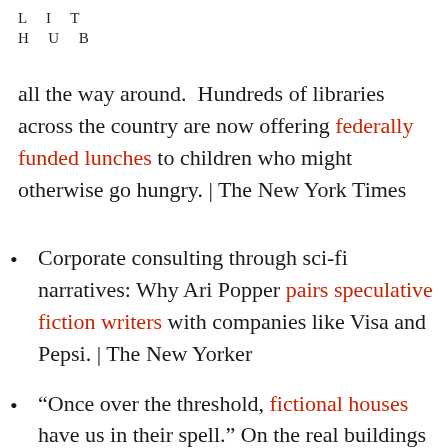LIT HUB
all the way around. Hundreds of libraries across the country are now offering federally funded lunches to children who might otherwise go hungry. | The New York Times
Corporate consulting through sci-fi narratives: Why Ari Popper pairs speculative fiction writers with companies like Visa and Pepsi. | The New Yorker
“Once over the threshold, fictional houses have us in their spell.” On the real buildings that inspired houses in the novels of Charlotte